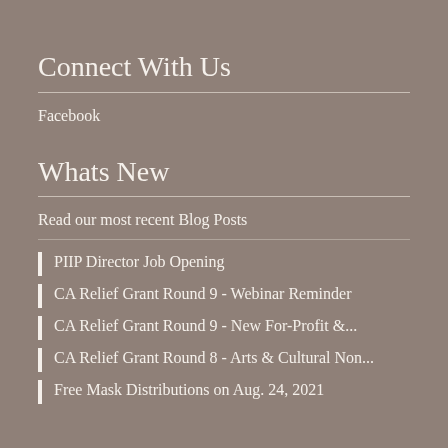Connect With Us
Facebook
Whats New
Read our most recent Blog Posts
PIIP Director Job Opening
CA Relief Grant Round 9 - Webinar Reminder
CA Relief Grant Round 9 - New For-Profit &...
CA Relief Grant Round 8 - Arts & Cultural Non...
Free Mask Distributions on Aug. 24, 2021